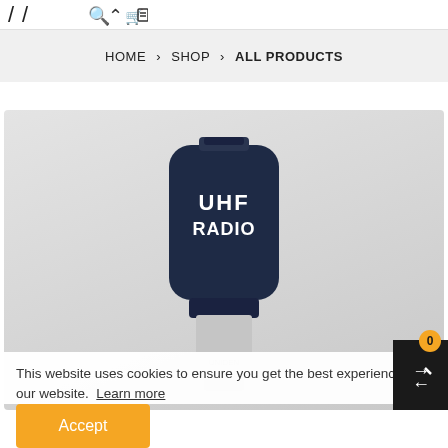HOME > SHOP > ALL PRODUCTS
[Figure (photo): A dark navy blue UHF Radio handheld device displayed against a light gray gradient background. The device has rounded corners and displays the text 'UHF RADIO' in white on its face.]
This website uses cookies to ensure you get the best experience on our website.  Learn more
Accept